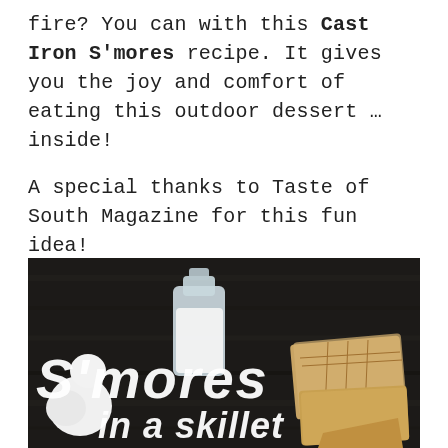fire? You can with this Cast Iron S'mores recipe. It gives you the joy and comfort of eating this outdoor dessert … inside!

A special thanks to Taste of South Magazine for this fun idea!
[Figure (photo): Dark background photo showing a glass milk bottle, white marshmallows, and graham crackers, with large white text overlay reading 'S'mores in a skillet']